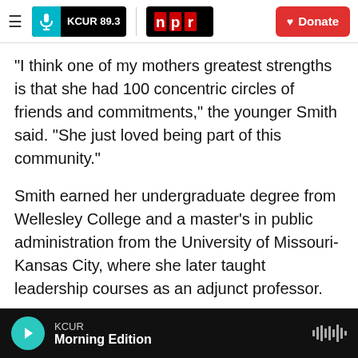KCUR 89.3 | npr | Donate
"I think one of my mothers greatest strengths is that she had 100 concentric circles of friends and commitments," the younger Smith said. "She just loved being part of this community."
Smith earned her undergraduate degree from Wellesley College and a master’s in public administration from the University of Missouri-Kansas City, where she later taught leadership courses as an adjunct professor.
She was married for 50 years to the late Edward A. Smith, a founding partner of the Smith Gill Fisher &
KCUR — Morning Edition